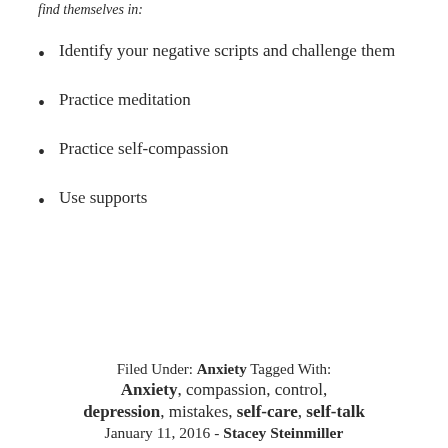find themselves in:
Identify your negative scripts and challenge them
Practice meditation
Practice self-compassion
Use supports
Filed Under: Anxiety Tagged With: Anxiety, compassion, control, depression, mistakes, self-care, self-talk January 11, 2016 - Stacey Steinmiller